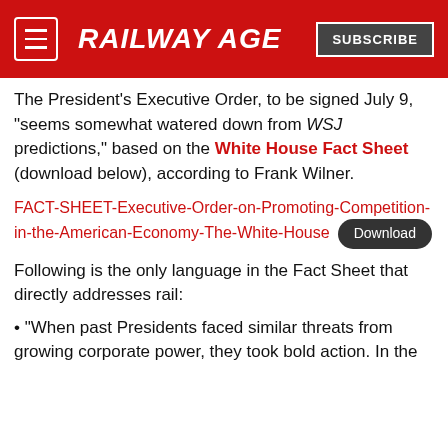RAILWAY AGE | SUBSCRIBE
The President’s Executive Order, to be signed July 9, “seems somewhat watered down from WSJ predictions,” based on the White House Fact Sheet (download below), according to Frank Wilner.
FACT-SHEET-Executive-Order-on-Promoting-Competition-in-the-American-Economy-The-White-House [Download]
Following is the only language in the Fact Sheet that directly addresses rail:
• “When past Presidents faced similar threats from growing corporate power, they took bold action. In the